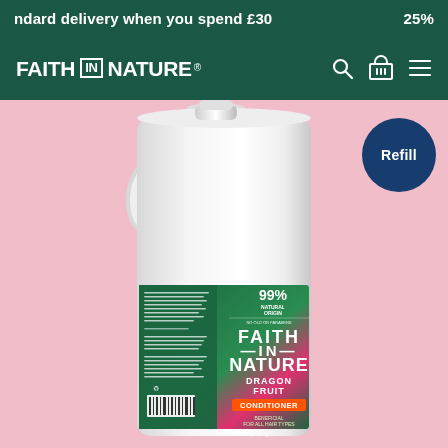ndard delivery when you spend £30   25%
[Figure (logo): Faith in Nature logo in white text on dark green navigation bar with search, basket and menu icons]
[Figure (photo): Large white 5-litre refill container of Faith in Nature Dragon Fruit Conditioner on a pink background. The bottle has a handle and a label featuring tropical green foliage with pink dragon fruit flowers. Label reads: 99% Natural Origin, Faith in Nature, Dragon Fruit, Conditioner, Beneficial for all hair types. A dark blue circular Refill badge appears in the top right.]